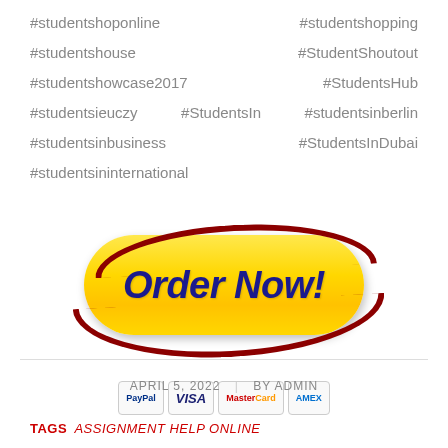#studentshoponline  #studentshopping
#studentshouse  #StudentShoutout
#studentshowcase2017  #StudentsHub
#studentsieuczy #StudentsIn #studentsinberlin
#studentsinbusiness  #StudentsInDubai
#studentsininternational
[Figure (illustration): Yellow 'Order Now!' button with red swirl decoration and payment icons (PayPal, VISA, MasterCard, AMEX) below]
APRIL 5, 2022  |  BY ADMIN
TAGS  ASSIGNMENT HELP ONLINE